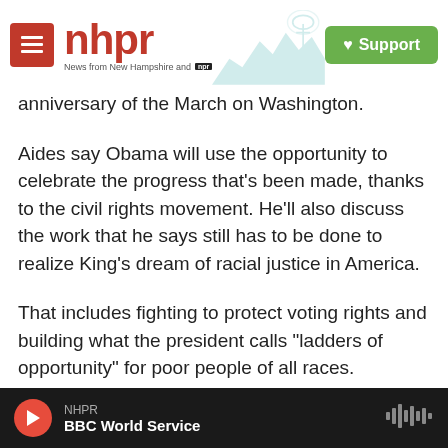[Figure (logo): NHPR (New Hampshire Public Radio) website header with red hamburger menu button, NHPR logo in red, tagline 'News from New Hampshire and NPR', mountain/radio tower illustration, and green Support button]
anniversary of the March on Washington.
Aides say Obama will use the opportunity to celebrate the progress that's been made, thanks to the civil rights movement. He'll also discuss the work that he says still has to be done to realize King's dream of racial justice in America.
That includes fighting to protect voting rights and building what the president calls "ladders of opportunity" for poor people of all races.
Obama doesn't often talk publicly about race. But it's clearly a subject he's thought and written a lot
NHPR BBC World Service